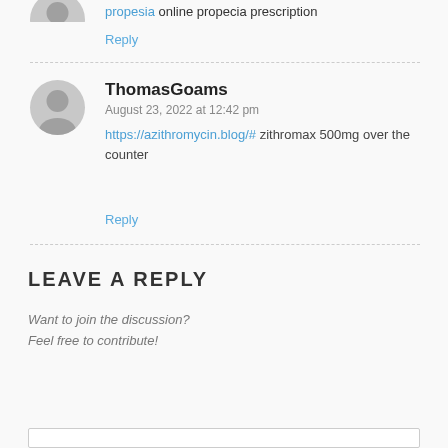propesia online propecia prescription
Reply
ThomasGoams
August 23, 2022 at 12:42 pm
https://azithromycin.blog/# zithromax 500mg over the counter
Reply
LEAVE A REPLY
Want to join the discussion?
Feel free to contribute!